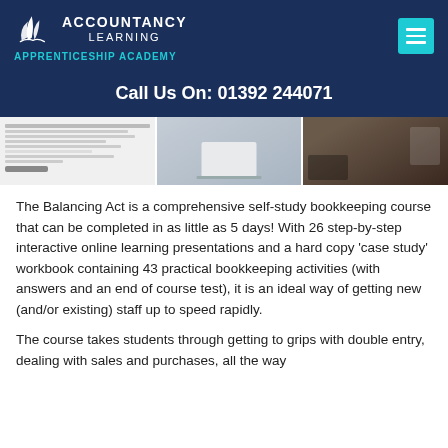[Figure (logo): Accountancy Learning Apprenticeship Academy logo with white leaf/bird SVG mark on dark navy background, teal menu button top right]
Call Us On: 01392 244071
[Figure (photo): Three-panel image strip: left panel shows a document/webpage screenshot, middle panel shows a laptop on a desk, right panel shows a person working at a desk]
The Balancing Act is a comprehensive self-study bookkeeping course that can be completed in as little as 5 days! With 26 step-by-step interactive online learning presentations and a hard copy ‘case study’ workbook containing 43 practical bookkeeping activities (with answers and an end of course test), it is an ideal way of getting new (and/or existing) staff up to speed rapidly.
The course takes students through getting to grips with double entry, dealing with sales and purchases, all the way